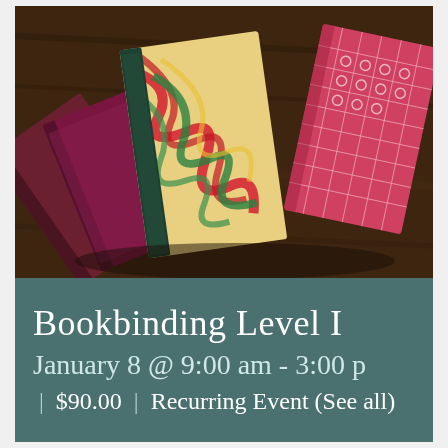[Figure (photo): Photograph of several handmade bookbound notebooks fanned out on a wooden table. The books have decorative covers including marbled red/green/yellow patterns, a dark green spine, a red/pink cover, and a geometric pink/white pattern.]
Bookbinding Level I
January 8 @ 9:00 am - 3:00 pm
| $90.00  |  Recurring Event (See all)